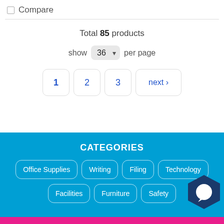Compare
Total 85 products
show 36 per page
1  2  3  next >
CATEGORIES
Office Supplies
Writing
Filing
Technology
Facilities
Furniture
Safety